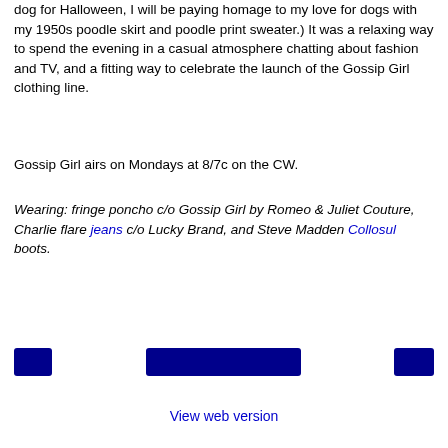dog for Halloween, I will be paying homage to my love for dogs with my 1950s poodle skirt and poodle print sweater.) It was a relaxing way to spend the evening in a casual atmosphere chatting about fashion and TV, and a fitting way to celebrate the launch of the Gossip Girl clothing line.
Gossip Girl airs on Mondays at 8/7c on the CW.
Wearing: fringe poncho c/o Gossip Girl by Romeo & Juliet Couture, Charlie flare jeans c/o Lucky Brand, and Steve Madden Collosul boots.
[Figure (other): Three dark navy/dark blue social media share buttons: a small square button on the left, a wide rectangular button in the center, and a small square button on the right.]
View web version